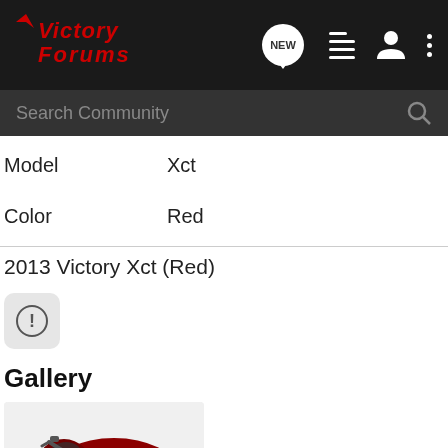[Figure (logo): Victory Forums logo in red italic text on dark background nav bar]
Search Community
| Model | Xct |
| Color | Red |
2013 Victory Xct (Red)
[Figure (other): Alert/exclamation icon button]
Gallery
[Figure (photo): Red 2013 Victory Xct motorcycle photo]